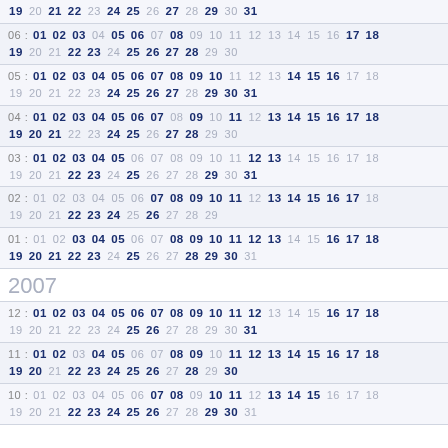19 20 21 22 23 24 25 26 27 28 29 30 31
06: 01 02 03 04 05 06 07 08 09 10 11 12 13 14 15 16 17 18 19 20 21 22 23 24 25 26 27 28 29 30
05: 01 02 03 04 05 06 07 08 09 10 11 12 13 14 15 16 17 18 19 20 21 22 23 24 25 26 27 28 29 30 31
04: 01 02 03 04 05 06 07 08 09 10 11 12 13 14 15 16 17 18 19 20 21 22 23 24 25 26 27 28 29 30
03: 01 02 03 04 05 06 07 08 09 10 11 12 13 14 15 16 17 18 19 20 21 22 23 24 25 26 27 28 29 30 31
02: 01 02 03 04 05 06 07 08 09 10 11 12 13 14 15 16 17 18 19 20 21 22 23 24 25 26 27 28 29
01: 01 02 03 04 05 06 07 08 09 10 11 12 13 14 15 16 17 18 19 20 21 22 23 24 25 26 27 28 29 30 31
2007
12: 01 02 03 04 05 06 07 08 09 10 11 12 13 14 15 16 17 18 19 20 21 22 23 24 25 26 27 28 29 30 31
11: 01 02 03 04 05 06 07 08 09 10 11 12 13 14 15 16 17 18 19 20 21 22 23 24 25 26 27 28 29 30
10: 01 02 03 04 05 06 07 08 09 10 11 12 13 14 15 16 17 18 19 20 21 22 23 24 25 26 27 28 29 30 31